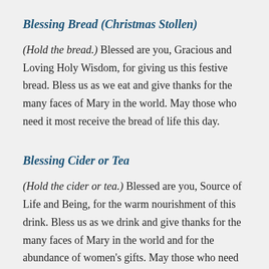Blessing Bread (Christmas Stollen)
(Hold the bread.) Blessed are you, Gracious and Loving Holy Wisdom, for giving us this festive bread. Bless us as we eat and give thanks for the many faces of Mary in the world. May those who need it most receive the bread of life this day.
Blessing Cider or Tea
(Hold the cider or tea.) Blessed are you, Source of Life and Being, for the warm nourishment of this drink. Bless us as we drink and give thanks for the many faces of Mary in the world and for the abundance of women's gifts. May those who need it